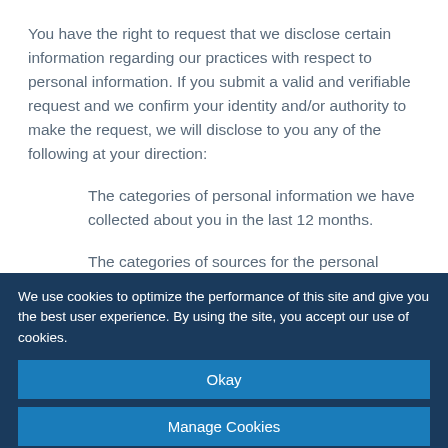You have the right to request that we disclose certain information regarding our practices with respect to personal information. If you submit a valid and verifiable request and we confirm your identity and/or authority to make the request, we will disclose to you any of the following at your direction:
The categories of personal information we have collected about you in the last 12 months.
The categories of sources for the personal information we have collected about you in the last 12 months.
Our business or commercial purpose for collecting that
We use cookies to optimize the performance of this site and give you the best user experience. By using the site, you accept our use of cookies.
Okay
Manage Cookies